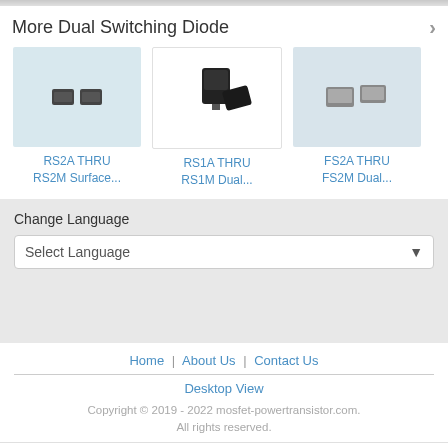More Dual Switching Diode
[Figure (photo): Product image of RS2A THRU RS2M Surface Mount dual switching diode]
RS2A THRU RS2M Surface...
[Figure (photo): Product image of RS1A THRU RS1M Dual switching diode]
RS1A THRU RS1M Dual...
[Figure (photo): Product image of FS2A THRU FS2M Dual switching diode]
FS2A THRU FS2M Dual...
Change Language
Select Language
Home | About Us | Contact Us
Desktop View
Copyright © 2019 - 2022 mosfet-powertransistor.com. All rights reserved.
Call Us
Contact Supplier